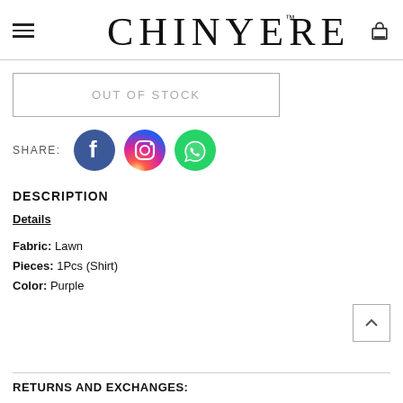CHINYERE™
OUT OF STOCK
[Figure (infographic): Social media share icons: Facebook, Instagram, WhatsApp]
DESCRIPTION
Details
Fabric: Lawn
Pieces: 1Pcs (Shirt)
Color: Purple
RETURNS AND EXCHANGES: